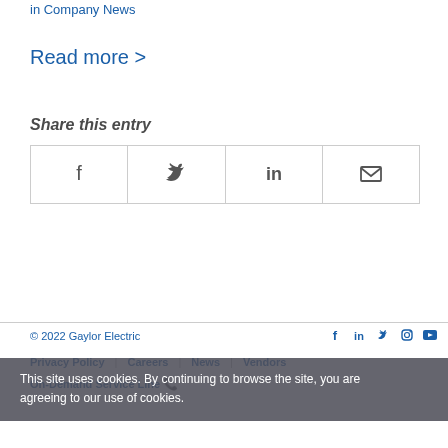in Company News
Read more >
Share this entry
[Figure (other): Social sharing buttons row: Facebook, Twitter, LinkedIn, Email icons in a 4-cell bordered table]
© 2022 Gaylor Electric | Privacy Policy | Careers | News | Vendors | On-Demand Service Line | Social icons: Facebook, LinkedIn, Twitter, Instagram, YouTube
This site uses cookies. By continuing to browse the site, you are agreeing to our use of cookies.